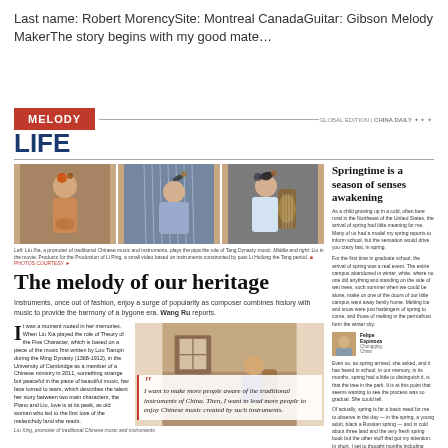Last name: Robert MorencySite: Montreal CanadaGuitar: Gibson Melody MakerThe story begins with my good mate…
MELODY
LIFE
[Figure (photo): Three photos of women in traditional Chinese costumes playing traditional Chinese instruments (pipa, guqin/konghou)]
Left: Liu Xia, a promoter of traditional Chinese music and instruments, plays the pipa the role of Tang Dynasty music. Middle and right: Liu in the movie, Products for the Production of Li Ping, a small video based on instruments constructed by poet Li Huilong the Tang period.
The melody of our heritage
Instruments, once out of fashion, enjoy a surge of popularity as composer combines history with music to provide the harmony of a bygone era. Wang Ru reports.
It was a moment rooted in her memories. When Liu Xia played the role of Theory of the Five Character, which is based on a piece of the music first written by Lou Tianqin during the Ming Dynasty (1368-1912), in the University of Cambridge as a member of a Chinese ministry in 2011, something strange but peaceful in the piece of beautiful music, her face turned to tears, which describes the talent her story between two main characters, the Piano and Liu, love is at its peak, as old woman who led to the first love of the melancholy land she reads.
I want to make more people aware of the traditional instruments of China. Then, I want to lead more people to enjoy Chinese music created by such instruments.
Liu Xing, promoter of traditional Chinese music and instruments
Springtime is a season of senses awakening
As a child growing up in a cold, often bare rural in the Northeast of the United States, the arrival of spring had little meaning for me. Many of us had a model my spring reports to inform school, but the sensation would drive you crazy fast, in spring. For the first time in graduate school, the arrival of spring was a real event. The entire campus abandoned in winter, white, where no one did anything and standing on the side of wet trees, such summer when we could be alone, make on one of the doors of our little campus went away family home. Melting ice and snow were just harbingers of spring to come, and those of melting in the permafrost form the winter city. Even so, as spring arrived, she asked, and it has heard in school, in our memory, in its months, spring had a little to distinguish it, is that the tree in the park. It is at this point that seems wanting to see the process was so gradual. She could tell. Of actually, spring is far a basic need for me to observe in the day — in the spring, a young adult, black a Russian spring — and in cold about three land and the very fresh spring book but the other stuff that got my attention. In short, I set to thought months including Russian spring, said that I arrived in China, I had been in Beijing for all three